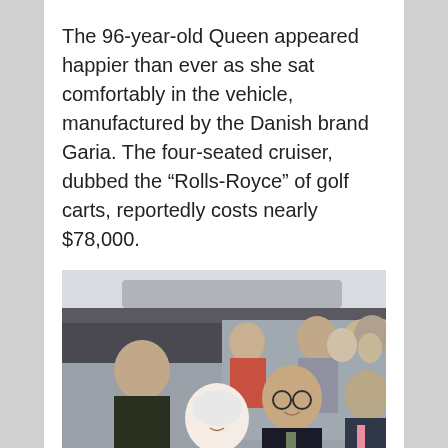The 96-year-old Queen appeared happier than ever as she sat comfortably in the vehicle, manufactured by the Danish brand Garia. The four-seated cruiser, dubbed the “Rolls-Royce” of golf carts, reportedly costs nearly $78,000.
[Figure (photo): Photo of the Queen sitting in a golf cart vehicle, smiling, alongside a man in glasses and a dark suit. Several people are visible in the background, including a woman in a floral dress and a man in a hat on the right.]